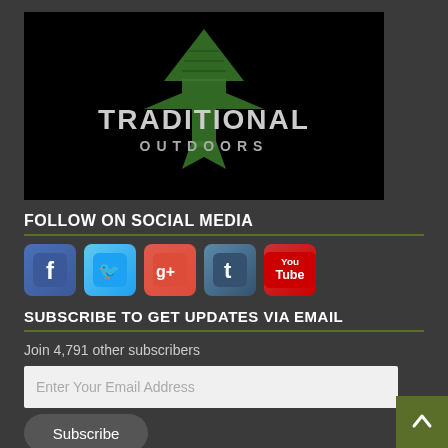[Figure (logo): Traditional Outdoors logo — black background with a green arrowhead/tree shape and white bold text reading TRADITIONAL OUTDOORS]
FOLLOW ON SOCIAL MEDIA
[Figure (infographic): Row of social media icons: Facebook (blue f), Twitter (blue bird), Google+ (red g+), Tumblr (dark blue t), YouTube (red You Tube)]
SUBSCRIBE TO GET UPDATES VIA EMAIL
Join 4,791 other subscribers
Enter Your Email Address
Subscribe